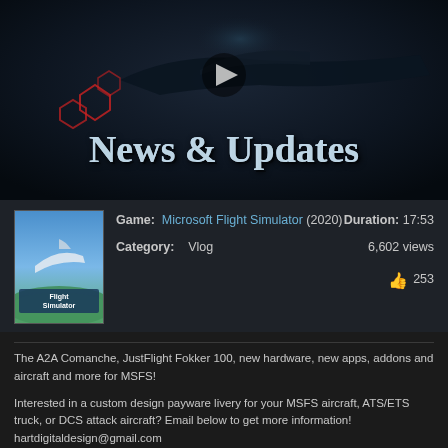[Figure (screenshot): Video thumbnail showing a dark aircraft with red markings, with 'News & Updates' text overlay and a play button icon]
Game: Microsoft Flight Simulator (2020)   Duration: 17:53
Category: Vlog   6,602 views
👍 253
The A2A Comanche, JustFlight Fokker 100, new hardware, new apps, addons and aircraft and more for MSFS!
Interested in a custom design payware livery for your MSFS aircraft, ATS/ETS truck, or DCS attack aircraft? Email below to get more information!
hartdigitaldesign@gmail.com
FSElite App: https://fselite.net/content/new-website-features-fselite-desktop-and-new-audio-publishing/